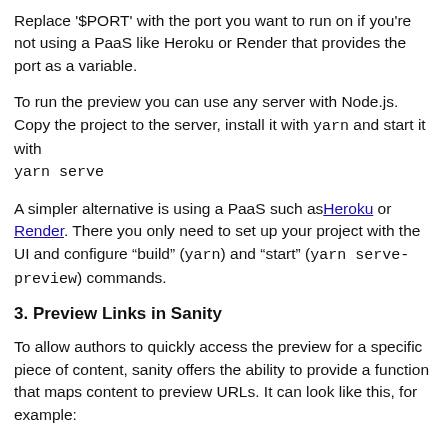Replace '$PORT' with the port you want to run on if you're not using a PaaS like Heroku or Render that provides the port as a variable.
To run the preview you can use any server with Node.js. Copy the project to the server, install it with yarn and start it with yarn serve
A simpler alternative is using a PaaS such as Heroku or Render. There you only need to set up your project with the UI and configure "build" (yarn) and "start" (yarn serve-preview) commands.
3. Preview Links in Sanity
To allow authors to quickly access the preview for a specific piece of content, sanity offers the ability to provide a function that maps content to preview URLs. It can look like this, for example: